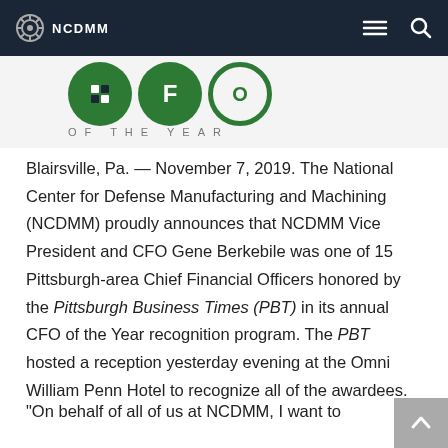NCDMM
[Figure (logo): CFO of the Year logo with green circular emblems]
OF THE YEAR
Blairsville, Pa. — November 7, 2019. The National Center for Defense Manufacturing and Machining (NCDMM) proudly announces that NCDMM Vice President and CFO Gene Berkebile was one of 15 Pittsburgh-area Chief Financial Officers honored by the Pittsburgh Business Times (PBT) in its annual CFO of the Year recognition program. The PBT hosted a reception yesterday evening at the Omni William Penn Hotel to recognize all of the awardees.
"On behalf of all of us at NCDMM, I want to